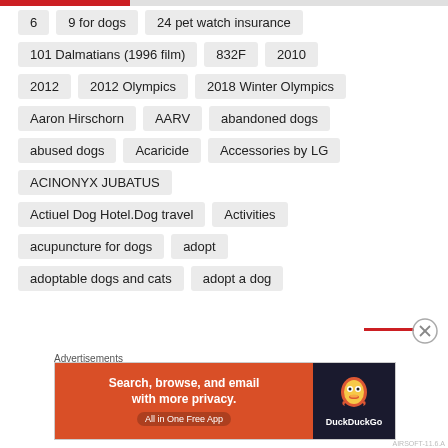6
9 for dogs
24 pet watch insurance
101 Dalmatians (1996 film)
832F
2010
2012
2012 Olympics
2018 Winter Olympics
Aaron Hirschorn
AARV
abandoned dogs
abused dogs
Acaricide
Accessories by LG
ACINONYX JUBATUS
Actiuel Dog Hotel.Dog travel
Activities
acupuncture for dogs
adopt
adoptable dogs and cats
adopt a dog
Advertisements
[Figure (screenshot): DuckDuckGo advertisement banner: orange background with text 'Search, browse, and email with more privacy. All in One Free App' and DuckDuckGo duck logo on dark background]